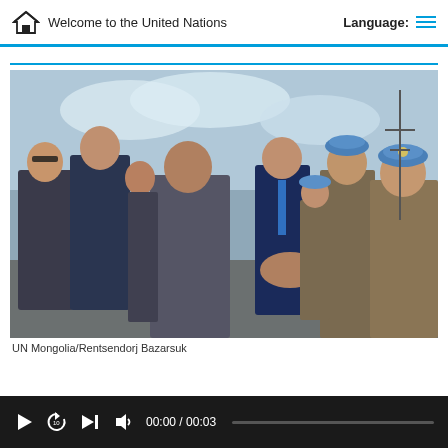Welcome to the United Nations | Language:
[Figure (photo): UN Secretary-General shaking hands with a female Mongolian peacekeeper in camouflage uniform and blue beret, surrounded by other officials and military personnel outdoors]
UN Mongolia/Rentsendorj Bazarsuk